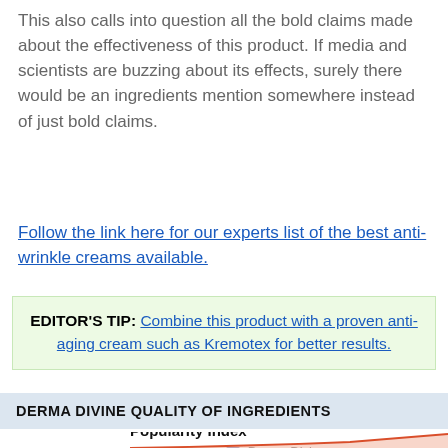This also calls into question all the bold claims made about the effectiveness of this product. If media and scientists are buzzing about its effects, surely there would be an ingredients mention somewhere instead of just bold claims.
Follow the link here for our experts list of the best anti-wrinkle creams available.
EDITOR'S TIP: Combine this product with a proven anti-aging cream such as Kremotex for better results.
DERMA DIVINE QUALITY OF INGREDIENTS
[Figure (area-chart): Area chart showing Popularity Index with two series: Kremotex (red/orange area, rising steeply) and Derma Divine (blue line, relatively flat). Y-axis shows value 75 visible.]